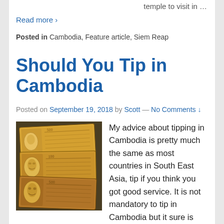temple to visit in …
Read more ›
Posted in Cambodia, Feature article, Siem Reap
Should You Tip in Cambodia
Posted on September 19, 2018 by Scott — No Comments ↓
[Figure (photo): Photo of Cambodian currency banknotes (riel) stacked on a dark textured surface]
My advice about tipping in Cambodia is pretty much the same as most countries in South East Asia, tip if you think you got good service. It is not mandatory to tip in Cambodia but it sure is appreciated. Cambodia …